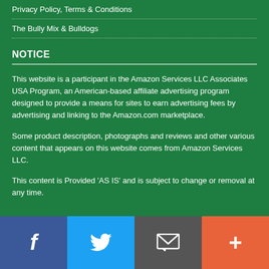Privacy Policy, Terms & Conditions
The Bully Mix & Bulldogs
NOTICE
This website is a participant in the Amazon Services LLC Associates USA Program, an American-based affiliate advertising program designed to provide a means for sites to earn advertising fees by advertising and linking to the Amazon.com marketplace.
Some product description, photographs and reviews and other various content that appears on this website comes from Amazon Services LLC.
This content is Provided 'AS IS' and is subject to change or removal at any time.
Facebook | Twitter | Email | Plus